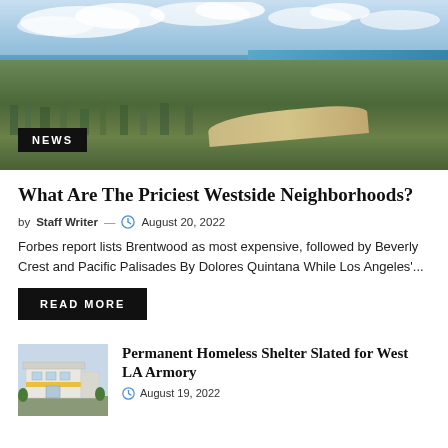[Figure (photo): Aerial view of a coastal Los Angeles neighborhood with ocean, beach, and city visible. NEWS badge in lower left corner.]
What Are The Priciest Westside Neighborhoods?
by Staff Writer — August 20, 2022
Forbes report lists Brentwood as most expensive, followed by Beverly Crest and Pacific Palisades By Dolores Quintana While Los Angeles'...
READ MORE
[Figure (photo): Thumbnail image of a modern building rendering for West LA Armory homeless shelter.]
Permanent Homeless Shelter Slated for West LA Armory
August 19, 2022